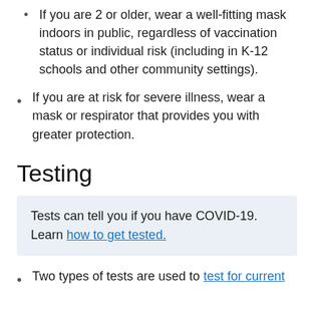If you are 2 or older, wear a well-fitting mask indoors in public, regardless of vaccination status or individual risk (including in K-12 schools and other community settings).
If you are at risk for severe illness, wear a mask or respirator that provides you with greater protection.
Testing
Tests can tell you if you have COVID-19. Learn how to get tested.
Two types of tests are used to test for current